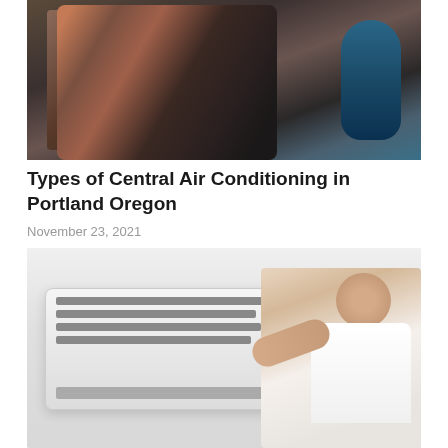[Figure (photo): HVAC technician sitting and working with tools and equipment, with a blue gas cylinder visible on the right side]
Types of Central Air Conditioning in Portland Oregon
November 23, 2021
[Figure (photo): A man in a white shirt installing or servicing a wall-mounted split air conditioning unit]